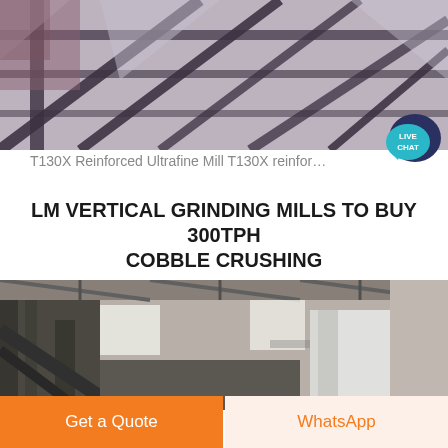[Figure (photo): Industrial machinery with steel framework and structural beams, partial view of mill equipment]
T130X Reinforced Ultrafine Mill T130X reinfor…
LM VERTICAL GRINDING MILLS TO BUY 300TPH COBBLE CRUSHING
[Figure (photo): Interior of industrial facility showing vertical grinding mill equipment with large white cylindrical duct/pipe and structural framework inside a warehouse]
Get a Quote
WhatsApp